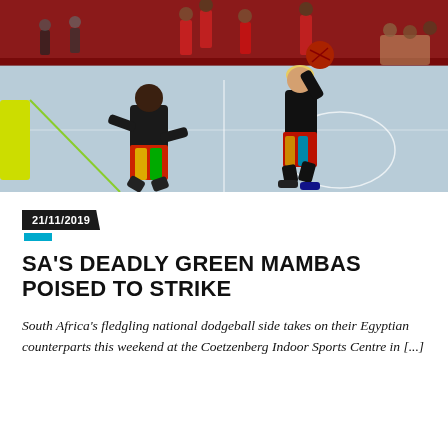[Figure (photo): Indoor dodgeball match with players in black and colorful uniforms on a blue court in a gymnasium. A female player holds the ball while another player defends. Multiple players and spectators visible in background.]
21/11/2019
SA'S DEADLY GREEN MAMBAS POISED TO STRIKE
South Africa's fledgling national dodgeball side takes on their Egyptian counterparts this weekend at the Coetzenberg Indoor Sports Centre in [...]